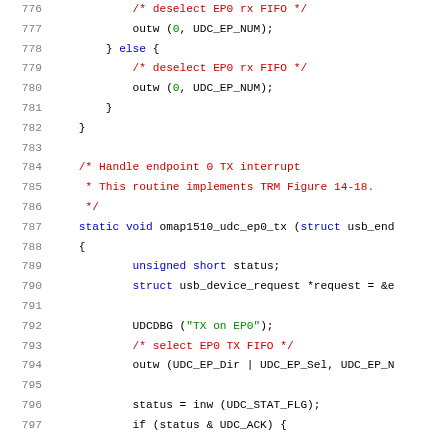[Figure (screenshot): Source code listing showing C code for a USB device controller driver, lines 776-797. The code handles EP0 RX/TX FIFO deselection and implements endpoint 0 TX interrupt handling via omap1510_udc_ep0_tx function.]